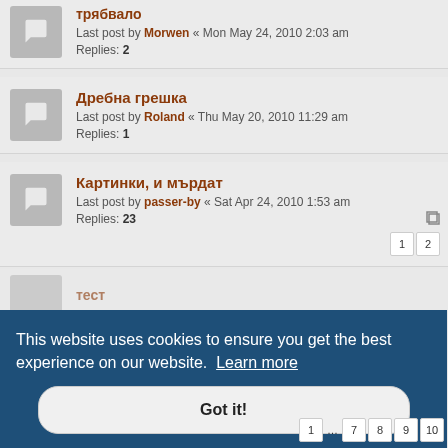трябвало — Last post by Morwen « Mon May 24, 2010 2:03 am — Replies: 2
Дребна грешка — Last post by Roland « Thu May 20, 2010 11:29 am — Replies: 1
Картинки, и мърдат — Last post by passer-by « Sat Apr 24, 2010 1:53 am — Replies: 23 — pages: 1, 2
This website uses cookies to ensure you get the best experience on our website. Learn more
Got it!